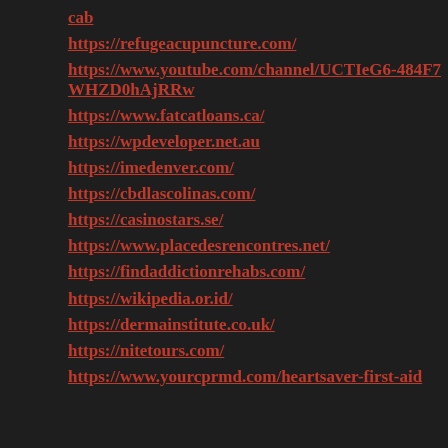cab
https://refugeacupuncture.com/
https://www.youtube.com/channel/UCTIeG6-484F7WHZD0hAjRRw
https://www.fatcatloans.ca/
https://wpdeveloper.net.au
https://imedenver.com/
https://cbdlascolinas.com/
https://casinostars.se/
https://www.placedesrencontres.net/
https://findaddictionrehabs.com/
https://wikipedia.or.id/
https://dermainstitute.co.uk/
https://nitetours.com/
https://www.yourcprmd.com/heartsaver-first-aid